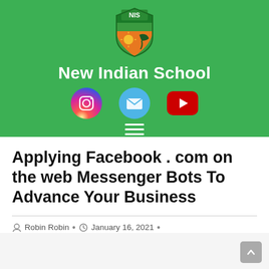[Figure (logo): New Indian School (NIS) shield logo with orange and green colors, sun and bird imagery, white text NIS at top]
New Indian School
[Figure (infographic): Three social media icons in a row: Instagram gradient circle, blue email envelope circle, red YouTube rounded rectangle]
[Figure (other): Hamburger menu icon (three horizontal white lines) on green background]
Applying Facebook . com on the web Messenger Bots To Advance Your Business
Robin Robin  •  January 16, 2021  •